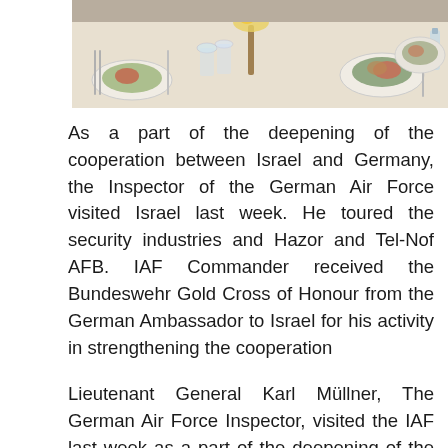[Figure (photo): Photo of a formal dining table setting with plates, glasses, cutlery, and decorative centerpiece. Taken from above/side angle showing table prepared for a formal dinner.]
As a part of the deepening of the cooperation between Israel and Germany, the Inspector of the German Air Force visited Israel last week. He toured the security industries and Hazor and Tel-Nof AFB. IAF Commander received the Bundeswehr Gold Cross of Honour from the German Ambassador to Israel for his activity in strengthening the cooperation
Lieutenant General Karl Müllner, The German Air Force Inspector, visited the IAF last week as a part of the deepening of the personal and professional cooperation between the forces. During his visit, the General toured